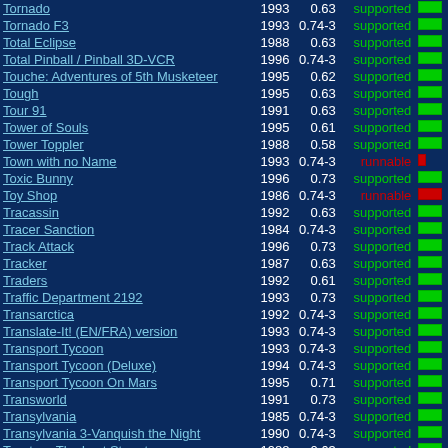| Name | Year | Version | Status | Bar |
| --- | --- | --- | --- | --- |
| Tornado | 1993 | 0.63 | supported | green |
| Tornado F3 | 1993 | 0.74-3 | supported | green |
| Total Eclipse | 1988 | 0.63 | supported | green |
| Total Pinball / Pinball 3D-VCR | 1996 | 0.74-3 | supported | green |
| Touche: Adventures of 5th Musketeer | 1995 | 0.62 | supported | green |
| Tough | 1995 | 0.63 | supported | green |
| Tour 91 | 1991 | 0.63 | supported | green |
| Tower of Souls | 1995 | 0.61 | supported | green |
| Tower Toppler | 1988 | 0.58 | supported | green |
| Town with no Name | 1993 | 0.74-3 | runnable | small-red |
| Toxic Bunny | 1996 | 0.73 | supported | green |
| Toy Shop | 1986 | 0.74-3 | runnable | red |
| Tracassin | 1992 | 0.63 | supported | green |
| Tracer Sanction | 1984 | 0.74-3 | supported | green |
| Track Attack | 1996 | 0.73 | supported | green |
| Tracker | 1987 | 0.63 | supported | green |
| Traders | 1992 | 0.61 | supported | green |
| Traffic Department 2192 | 1993 | 0.73 | supported | green |
| Transarctica | 1992 | 0.74-3 | supported | green |
| Translate-It! (EN/FRA) version | 1993 | 0.74-3 | supported | green |
| Transport Tycoon | 1993 | 0.74-3 | supported | green |
| Transport Tycoon (Deluxe) | 1994 | 0.74-3 | supported | green |
| Transport Tycoon On Mars | 1995 | 0.71 | supported | green |
| Transworld | 1991 | 0.73 | supported | green |
| Transylvania | 1985 | 0.74-3 | supported | green |
| Transylvania 3-Vanquish the Night | 1990 | 0.74-3 | supported | green |
| Trantor - The Last Stormtrooper | 1988 | 0.63 | supported | green |
| TRAZ - Transformable Arcade Zone | 1989 | 0.74-3 | supported | green |
| Treasure Cove! | 1992 | 0.72 | supported | green |
| Treasure Island | 1985 | 0.65 | supported | green |
| Treasure Trap | 1989 | 0.63 | supported | green |
| Treasures of the Savage Frontier | 1992 | 0.65 | supported | green |